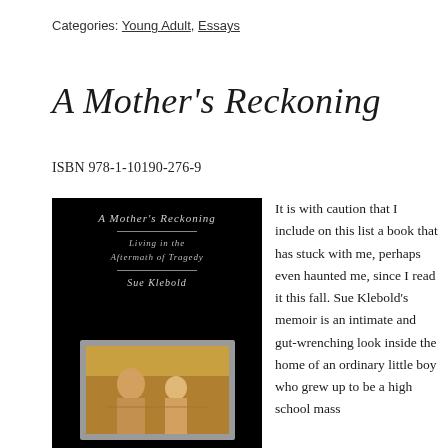Categories: Young Adult, Essays
A Mother's Reckoning
ISBN 978-1-10190-276-9
[Figure (photo): Book cover of 'A Mother's Reckoning: Living in the Aftermath of Tragedy' by Sue Klebold. Black background with white italic text and a framed photograph of a woman and young boy at a table.]
It is with caution that I include on this list a book that has stuck with me, perhaps even haunted me, since I read it this fall. Sue Klebold's memoir is an intimate and gut-wrenching look inside the home of an ordinary little boy who grew up to be a high school mass